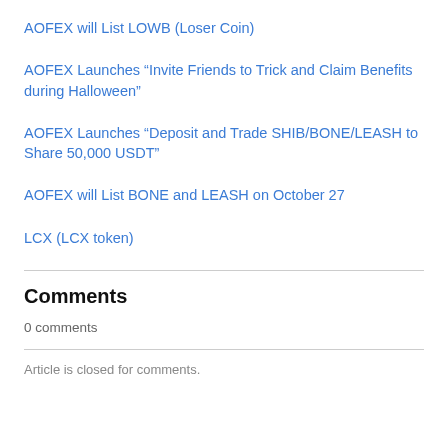AOFEX will List LOWB (Loser Coin)
AOFEX Launches “Invite Friends to Trick and Claim Benefits during Halloween”
AOFEX Launches “Deposit and Trade SHIB/BONE/LEASH to Share 50,000 USDT”
AOFEX will List BONE and LEASH on October 27
LCX (LCX token)
Comments
0 comments
Article is closed for comments.